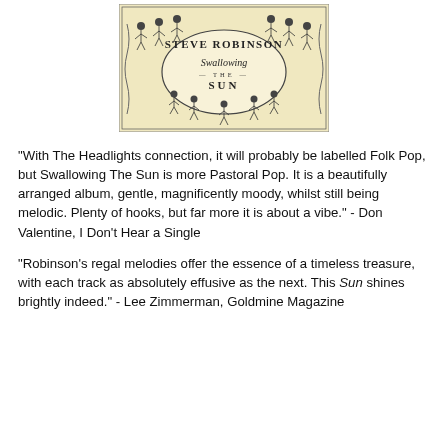[Figure (illustration): Album cover for 'Swallowing The Sun' by Steve Robinson. Vintage woodcut-style illustration showing figures dancing in a circle around an oval frame containing the text 'Steve Robinson / Swallowing The Sun'. Yellowish/cream background with black line art.]
"With The Headlights connection, it will probably be labelled Folk Pop, but Swallowing The Sun is more Pastoral Pop. It is a beautifully arranged album, gentle, magnificently moody, whilst still being melodic. Plenty of hooks, but far more it is about a vibe." - Don Valentine, I Don't Hear a Single
"Robinson's regal melodies offer the essence of a timeless treasure, with each track as absolutely effusive as the next. This Sun shines brightly indeed." - Lee Zimmerman, Goldmine Magazine